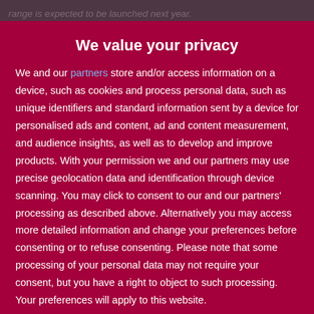range is expected to be launched next year.
We value your privacy
We and our partners store and/or access information on a device, such as cookies and process personal data, such as unique identifiers and standard information sent by a device for personalised ads and content, ad and content measurement, and audience insights, as well as to develop and improve products. With your permission we and our partners may use precise geolocation data and identification through device scanning. You may click to consent to our and our partners' processing as described above. Alternatively you may access more detailed information and change your preferences before consenting or to refuse consenting. Please note that some processing of your personal data may not require your consent, but you have a right to object to such processing. Your preferences will apply to this website.
AGREE
MORE OPTIONS